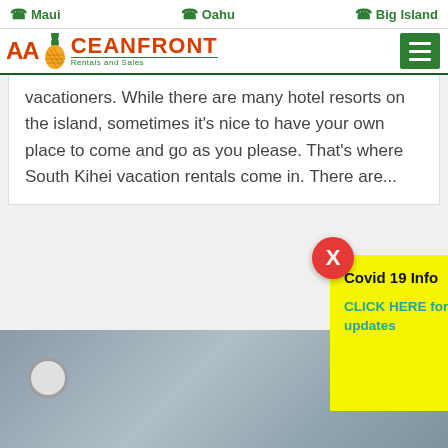Maui  Oahu  Big Island
[Figure (logo): AA Oceanfront Rentals and Sales logo with pineapple graphic]
vacationers. While there are many hotel resorts on the island, sometimes it's nice to have your own place to come and go as you please. That's where South Kihei vacation rentals come in. There are...
[Figure (infographic): Yellow Covid 19 Info popup box with red X close button and teal link text: CLICK HERE for COVID 19 updates]
[Figure (photo): Partial view of a room interior with a clock on the wall]